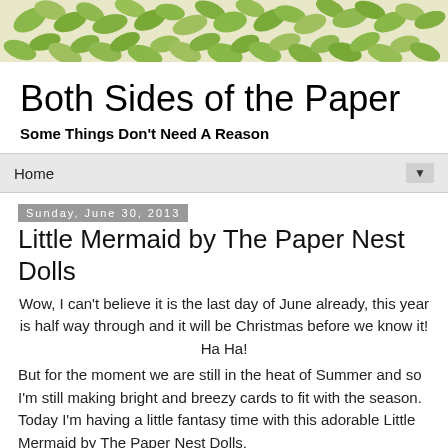[Figure (illustration): Green leaf decorative pattern banner at the top of the blog page on a cream/beige background]
Both Sides of the Paper
Some Things Don't Need A Reason
Home ▼
Sunday, June 30, 2013
Little Mermaid by The Paper Nest Dolls
Wow, I can't believe it is the last day of June already, this year is half way through and it will be Christmas before we know it! Ha Ha!
But for the moment we are still in the heat of Summer and so I'm still making bright and breezy cards to fit with the season. Today I'm having a little fantasy time with this adorable Little Mermaid by The Paper Nest Dolls.